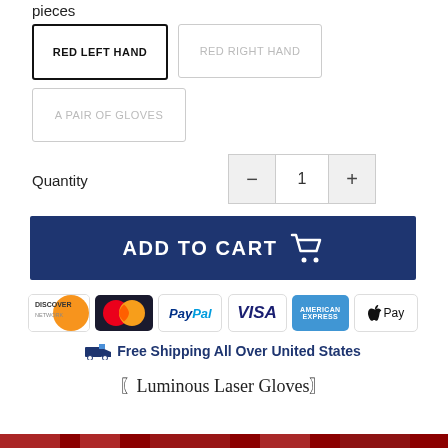pieces
RED LEFT HAND
RED RIGHT HAND
A PAIR OF GLOVES
Quantity  −  1  +
[Figure (other): ADD TO CART button with shopping cart icon, dark navy blue background, white bold text]
[Figure (other): Payment method icons: Discover, MasterCard, PayPal, Visa, American Express, Apple Pay]
🚚 Free Shipping All Over United States
〖Luminous Laser Gloves〗